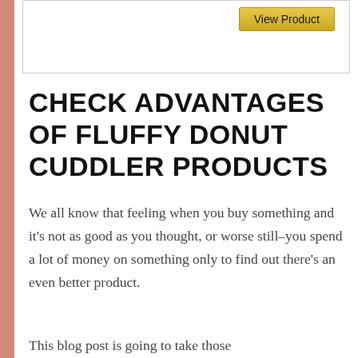[Figure (other): Partial product card with a gold 'View Product' button]
CHECK ADVANTAGES OF FLUFFY DONUT CUDDLER PRODUCTS
We all know that feeling when you buy something and it's not as good as you thought, or worse still–you spend a lot of money on something only to find out there's an even better product.
This blog post is going to take those